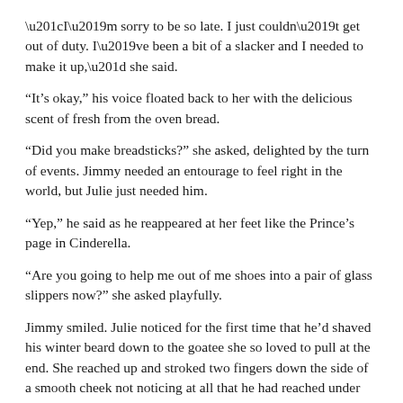“I’m sorry to be so late. I just couldn’t get out of duty. I’ve been a bit of a slacker and I needed to make it up,” she said.
“It’s okay,” his voice floated back to her with the delicious scent of fresh from the oven bread.
“Did you make breadsticks?” she asked, delighted by the turn of events. Jimmy needed an entourage to feel right in the world, but Julie just needed him.
“Yep,” he said as he reappeared at her feet like the Prince’s page in Cinderella.
“Are you going to help me out of me shoes into a pair of glass slippers now?” she asked playfully.
Jimmy smiled. Julie noticed for the first time that he’d shaved his winter beard down to the goatee she so loved to pull at the end. She reached up and stroked two fingers down the side of a smooth cheek not noticing at all that he had reached under the sofa and removed a small green velvet covered box.